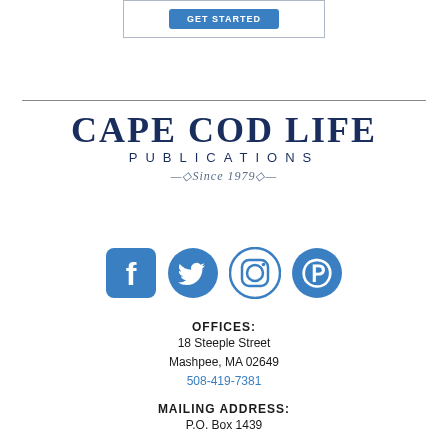[Figure (screenshot): Blue button inside a bordered box at the top of the page]
[Figure (logo): Cape Cod Life Publications logo with 'Since 1979' tagline]
[Figure (infographic): Row of four social media icons: Facebook, Twitter, Instagram, Pinterest in blue]
OFFICES:
18 Steeple Street
Mashpee, MA 02649
508-419-7381
MAILING ADDRESS:
P.O. Box 1439